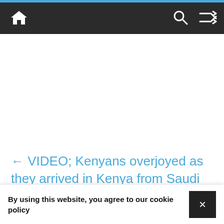Navigation bar with home icon, search icon, and shuffle icon
← VIDEO; Kenyans overjoyed as they arrived in Kenya from Saudi Arabia
By using this website, you agree to our cookie policy